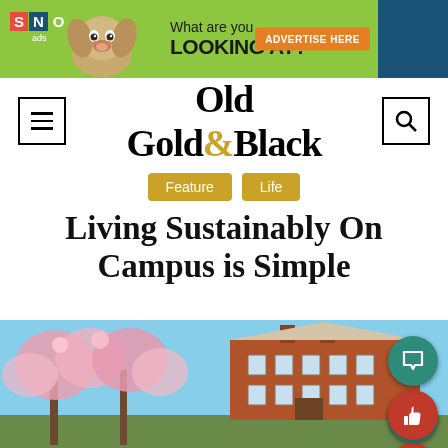[Figure (illustration): SNO ads banner with green background, chihuahua dog image, text 'What are you LOOKING AT?' and orange 'ADVERTISE HERE' button on blue strip]
[Figure (logo): Old Gold & Black newspaper logo in blackletter font with gold ampersand, flanked by hamburger menu and search icons]
Feature   Life
Living Sustainably On Campus is Simple
[Figure (photo): Photo of a red brick colonial-style campus building with pink cherry blossom trees in the foreground against a blue sky]